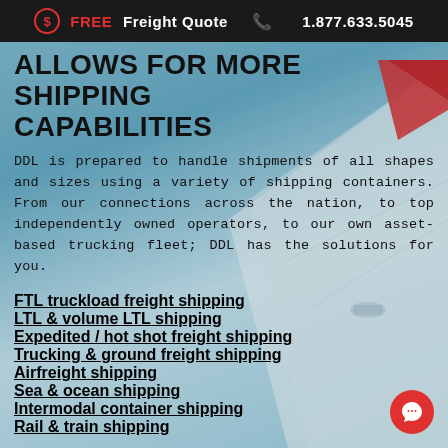FREE Freight Quote  1.877.633.5045
ALLOWS FOR MORE SHIPPING CAPABILITIES
DDL is prepared to handle shipments of all shapes and sizes using a variety of shipping containers. From our connections across the nation, to top independently owned operators, to our own asset-based trucking fleet; DDL has the solutions for you.
FTL truckload freight shipping
LTL & volume LTL shipping
Expedited / hot shot freight shipping
Trucking & ground freight shipping
Airfreight shipping
Sea & ocean shipping
Intermodal container shipping
Rail & train shipping